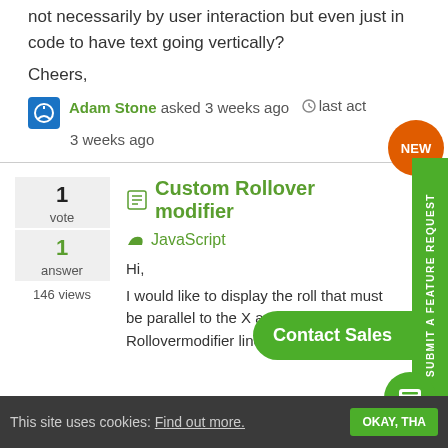not necessarily by user interaction but even just in code to have text going vertically?
Cheers,
Adam Stone asked 3 weeks ago  last act 3 weeks ago
Custom Rollover modifier
JavaScript
Hi,
I would like to display the roll that must be parallel to the X axis and the Rollovermodifier line must be a dashed
1 vote
1 answer
146 views
This site uses cookies: Find out more.  OKAY, THA...